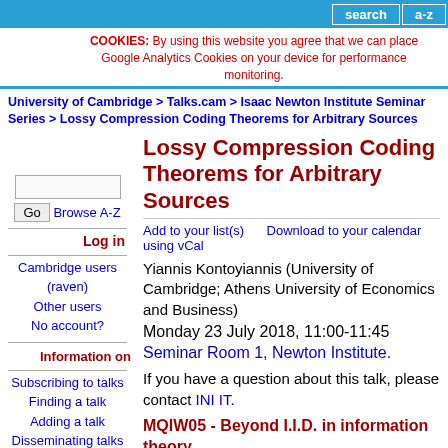search  a-z
COOKIES: By using this website you agree that we can place Google Analytics Cookies on your device for performance monitoring.
University of Cambridge > Talks.cam > Isaac Newton Institute Seminar Series > Lossy Compression Coding Theorems for Arbitrary Sources
Lossy Compression Coding Theorems for Arbitrary Sources
Add to your list(s)    Download to your calendar using vCal
Yiannis Kontoyiannis (University of Cambridge; Athens University of Economics and Business)
Monday 23 July 2018, 11:00-11:45
Seminar Room 1, Newton Institute.
If you have a question about this talk, please contact INI IT.
MQIW05 - Beyond I.I.D. in information theory
Log in
Cambridge users (raven)
Other users
No account?
Information on
Subscribing to talks
Finding a talk
Adding a talk
Disseminating talks
Help and Documentation